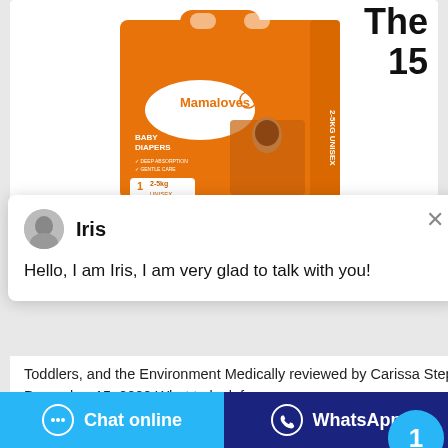The
15
[Figure (photo): Mamaloves Baby Diapers package, orange box, size 1, 2-5kg, Unisex, with a baby on the front]
Iris
Hello, I am Iris, I am very glad to talk with you!
Toddlers, and the Environment Medically reviewed by Carissa Stephens, R.N., CCRN, CPN — Written by Kimberly Zapata on December 15, 2020 What to look f
Chat online
WhatsApp